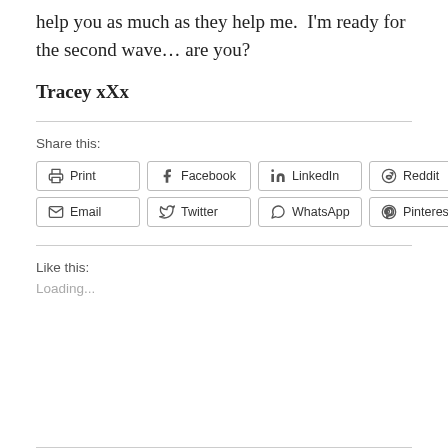help you as much as they help me.  I'm ready for the second wave… are you?
Tracey xXx
Share this:
Print | Facebook | LinkedIn | Reddit | Email | Twitter | WhatsApp | Pinterest
Like this:
Loading...